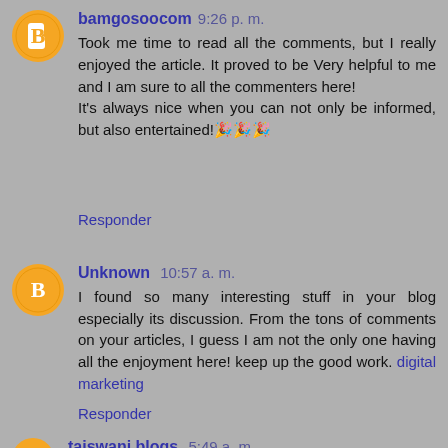bamgosoocom 9:26 p. m.
Took me time to read all the comments, but I really enjoyed the article. It proved to be Very helpful to me and I am sure to all the commenters here! It's always nice when you can not only be informed, but also entertained!🎉🎉🎉
Responder
Unknown 10:57 a. m.
I found so many interesting stuff in your blog especially its discussion. From the tons of comments on your articles, I guess I am not the only one having all the enjoyment here! keep up the good work. digital marketing
Responder
taiswani.blogs 5:49 a. m.